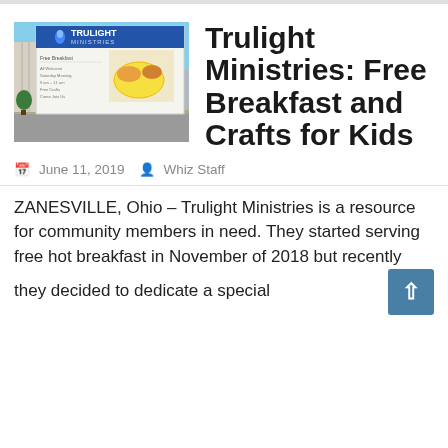[Figure (photo): Outdoor photo of a Trulight Ministries banner/sign mounted on a building, showing blue sky, text about free breakfast, and food images on the sign]
Trulight Ministries: Free Breakfast and Crafts for Kids
June 11, 2019   Whiz Staff
ZANESVILLE, Ohio – Trulight Ministries is a resource for community members in need. They started serving free hot breakfast in November of 2018 but recently they decided to dedicate a special